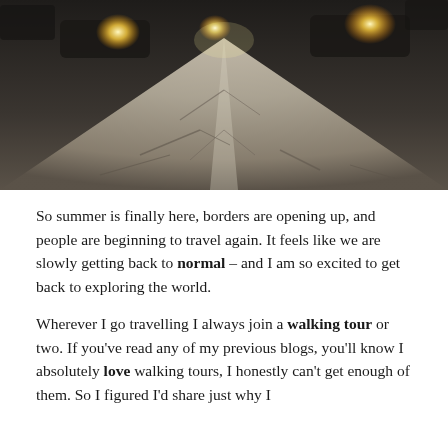[Figure (photo): Close-up photo of a cracked stone or asphalt road surface from a low angle, with bokeh car headlights glowing in the background. The road vanishes to a bright vanishing point in the center.]
So summer is finally here, borders are opening up, and people are beginning to travel again. It feels like we are slowly getting back to normal – and I am so excited to get back to exploring the world.
Wherever I go travelling I always join a walking tour or two. If you've read any of my previous blogs, you'll know I absolutely love walking tours, I honestly can't get enough of them. So I figured I'd share just why I